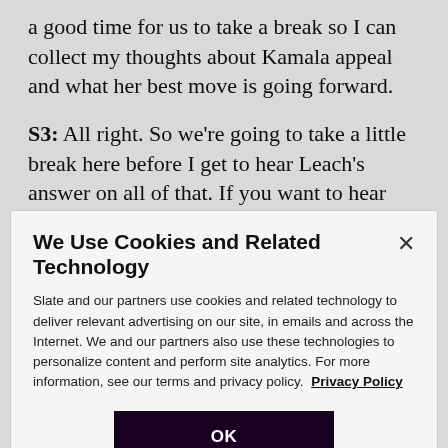a good time for us to take a break so I can collect my thoughts about Kamala appeal and what her best move is going forward.
S3: All right. So we're going to take a little break here before I get to hear Leach's answer on all of that. If you want to hear more from Alicia in yet another topic, check out our Waves Plus segment. Is this feminist where today we are debating whether the new post-
We Use Cookies and Related Technology
Slate and our partners use cookies and related technology to deliver relevant advertising on our site, in emails and across the Internet. We and our partners also use these technologies to personalize content and perform site analytics. For more information, see our terms and privacy policy. Privacy Policy
OK